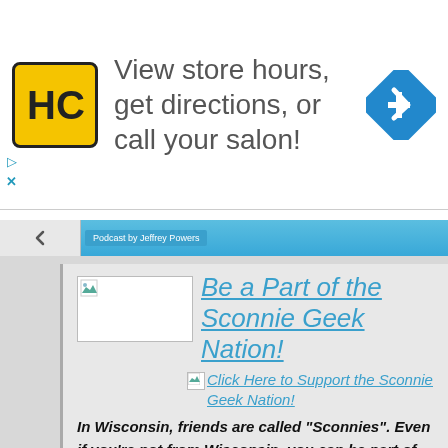[Figure (screenshot): Advertisement banner: HC logo (yellow square with HC letters), text 'View store hours, get directions, or call your salon!', and a blue navigation arrow diamond icon on the right.]
[Figure (screenshot): Navigation bar with back chevron button and a blue bar with 'Podcast by Jeffrey Powers' label.]
Be a Part of the Sconnie Geek Nation!
Click Here to Support the Sconnie Geek Nation!
In Wisconsin, friends are called "Sconnies". Even if you're not from Wisconsin, you can be part of the Sconnie Geek Nation through my coverage! By pledging, you join the Geek Sconnie Nation! Plus,